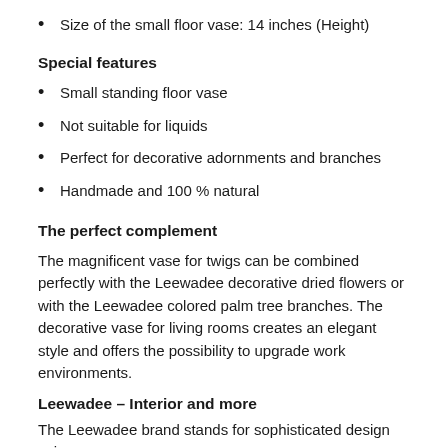Size of the small floor vase: 14 inches (Height)
Special features
Small standing floor vase
Not suitable for liquids
Perfect for decorative adornments and branches
Handmade and 100 % natural
The perfect complement
The magnificent vase for twigs can be combined perfectly with the Leewadee decorative dried flowers or with the Leewadee colored palm tree branches. The decorative vase for living rooms creates an elegant style and offers the possibility to upgrade work environments.
Leewadee – Interior and more
The Leewadee brand stands for sophisticated design using